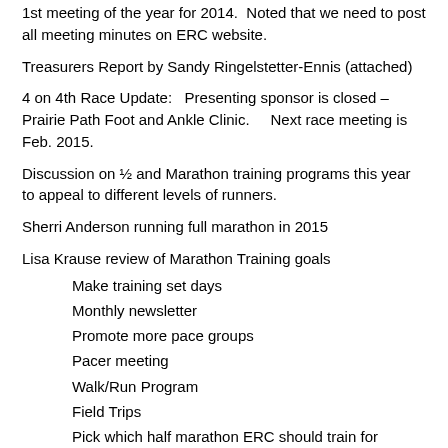1st meeting of the year for 2014.  Noted that we need to post all meeting minutes on ERC website.
Treasurers Report by Sandy Ringelstetter-Ennis (attached)
4 on 4th Race Update:   Presenting sponsor is closed – Prairie Path Foot and Ankle Clinic.     Next race meeting is Feb. 2015.
Discussion on ½ and Marathon training programs this year to appeal to different levels of runners.
Sherri Anderson running full marathon in 2015
Lisa Krause review of Marathon Training goals
Make training set days
Monthly newsletter
Promote more pace groups
Pacer meeting
Walk/Run Program
Field Trips
Pick which half marathon ERC should train for